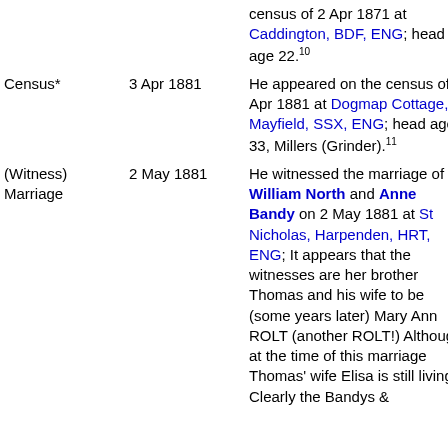census of 2 Apr 1871 at Caddington, BDF, ENG; head age 22.10
| Event | Date | Details |
| --- | --- | --- |
| Census* | 3 Apr 1881 | He appeared on the census of 3 Apr 1881 at Dogmap Cottage, Mayfield, SSX, ENG; head age 33, Millers (Grinder).11 |
| (Witness) Marriage | 2 May 1881 | He witnessed the marriage of William North and Anne Bandy on 2 May 1881 at St Nicholas, Harpenden, HRT, ENG; It appears that the witnesses are her brother Thomas and his wife to be (some years later) Mary Ann ROLT (another ROLT!) Although at the time of this marriage Thomas' wife Elisa is still living. Clearly the Bandys & |